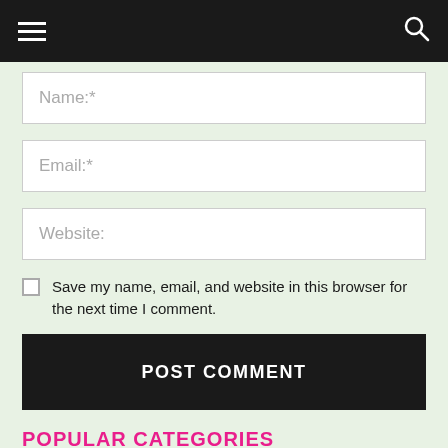Name:*
Email:*
Website:
Save my name, email, and website in this browser for the next time I comment.
POST COMMENT
POPULAR CATEGORIES
NEUROLOGY 1504